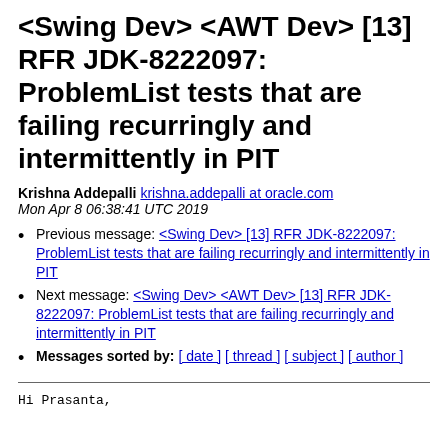<Swing Dev> <AWT Dev> [13] RFR JDK-8222097: ProblemList tests that are failing recurringly and intermittently in PIT
Krishna Addepalli krishna.addepalli at oracle.com
Mon Apr 8 06:38:41 UTC 2019
Previous message: <Swing Dev> [13] RFR JDK-8222097: ProblemList tests that are failing recurringly and intermittently in PIT
Next message: <Swing Dev> <AWT Dev> [13] RFR JDK-8222097: ProblemList tests that are failing recurringly and intermittently in PIT
Messages sorted by: [ date ] [ thread ] [ subject ] [ author ]
Hi Prasanta,